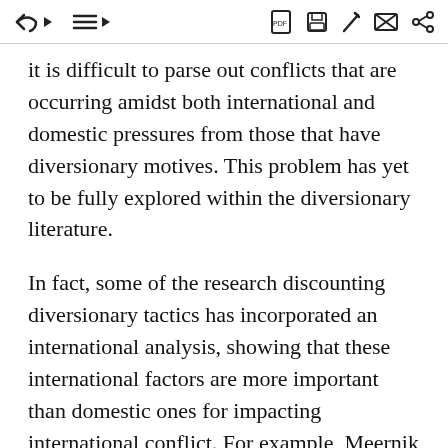[toolbar/navigation icons]
it is difficult to parse out conflicts that are occurring amidst both international and domestic pressures from those that have diversionary motives. This problem has yet to be fully explored within the diversionary literature.
In fact, some of the research discounting diversionary tactics has incorporated an international analysis, showing that these international factors are more important than domestic ones for impacting international conflict. For example, Meernik (1994) argued that, while some scholars previously found domestic political reasons to be important motivations for the use of force by U.S. presidents, these studies fail to fully consider the international considerations that